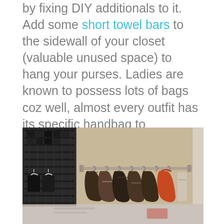by fixing DIY additionals to it. Add some short towel bars to the sidewall of your closet (valuable unused space) to hang your purses. Ladies are known to possess lots of bags coz well, almost every outfit has its specific handbag to accompany it. And a lady doesn't get tired of acquiring more bags. So this created space for all bags is very convenient and comes in handy.
[Figure (photo): A closet interior showing purses and bags hanging on a horizontal towel bar mounted on the sidewall. The left side shows dark clothing on hangers and a wire shoe rack. Multiple purses hang from S-hooks on the bar, including an orange/red tote on the right. The bottom portion of the image is slightly faded/washed out.]